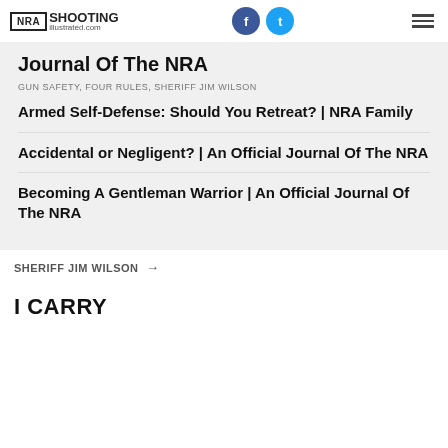NRA Shooting Illustrated
Journal Of The NRA
GUN SAFETY, FOUR RULES, SHERIFF JIM WILSON
Armed Self-Defense: Should You Retreat? | NRA Family
Accidental or Negligent? | An Official Journal Of The NRA
Becoming A Gentleman Warrior | An Official Journal Of The NRA
SHERIFF JIM WILSON →
I CARRY